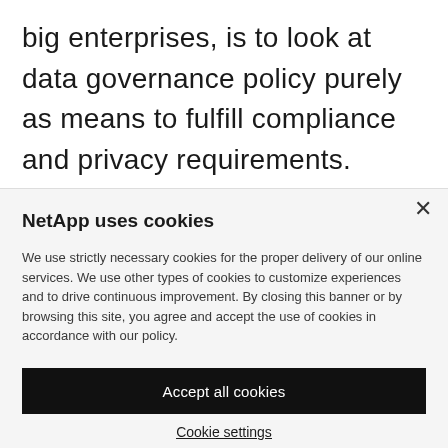big enterprises, is to look at data governance policy purely as means to fulfill compliance and privacy requirements. While this approach is not entirely wrong—data governance principles do make compliance standards easier to audit and help you find ways to comply with privacy
NetApp uses cookies
We use strictly necessary cookies for the proper delivery of our online services. We use other types of cookies to customize experiences and to drive continuous improvement. By closing this banner or by browsing this site, you agree and accept the use of cookies in accordance with our policy.
Accept all cookies
Cookie settings